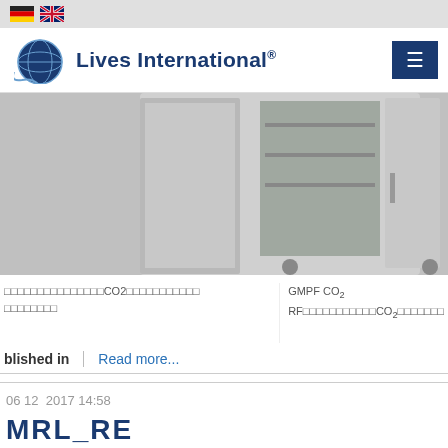Lives International® — language selector (DE, EN) and navigation menu
[Figure (photo): Gray industrial CO2 incubator cabinet with open doors showing interior shelves, on caster wheels]
□□□□□□□□□□□□□□□CO2□□□□□□□□□□□ □□□□□□□□
GMPF CO₂ RF□□□□□□□□□□□CO₂□□□□□□□
blished in
Read more...
06 12  2017 14:58
MRL_RE